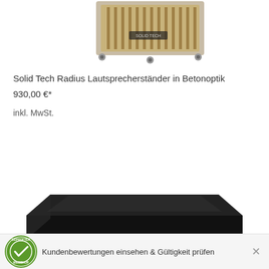[Figure (photo): Top portion of a Solid Tech Radius loudspeaker stand with metal legs, viewed from above, on white background]
Solid Tech Radius Lautsprecherständer in Betonoptik
930,00 €*
inkl. MwSt.
[Figure (photo): Black square platform/base of a Solid Tech Radius loudspeaker stand with small rubber feet, viewed at slight angle on white background]
Kundenbewertungen einsehen & Gültigkeit prüfen